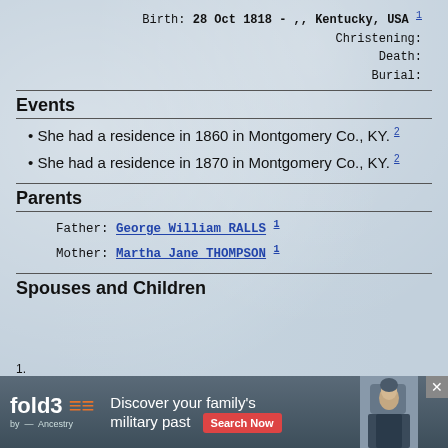Birth: 28 Oct 1818 - ,, Kentucky, USA 1
Christening:
Death:
Burial:
Events
She had a residence in 1860 in Montgomery Co., KY. 2
She had a residence in 1870 in Montgomery Co., KY. 2
Parents
Father: George William RALLS 1
Mother: Martha Jane THOMPSON 1
Spouses and Children
1.
[Figure (other): fold3 by Ancestry advertisement banner: Discover your family's military past. Search Now button. Photo of a Civil War soldier.]